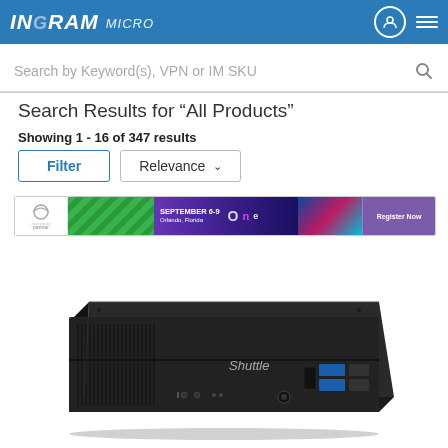INGRAM MICRO
Search by Keyword(s), VPN or IM SKU
Search Results for “All Products”
Showing 1 - 16 of 347 results
Filter  Relevance
[Figure (screenshot): Promotional banner for an Ingram Micro event with green zigzag pattern, purple background with event details, faces of people lit in colorful lights, and a Register Now button]
[Figure (photo): Shuttle branded small form factor desktop PC / mini PC in black color, viewed from a slight angle showing front ports including USB 3.0 ports and a card reader]